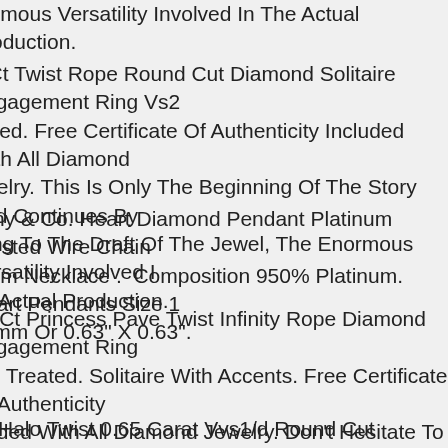normous Versatility Involved In The Actual Production.
5 Ct Twist Rope Round Cut Diamond Solitaire Engagement Ring Vs2 eated. Free Certificate Of Authenticity Included With All Diamond ewelry. This Is Only The Beginning Of The Story And Continues By lding To The Draft Of The Jewel, The Enormous Versatility Involved In he Actual Production.
ffany & Co. Heart Diamond Pendant Platinum Twisted Wire Chain harm Necklace . Composition 950% Platinum. Heart Pendants Size 16mm Or 0.63" X 0.63".
05 Ct Princess Pave Twist Infinity Rope Diamond Engagement Ring 1 F Treated. Solitaire With Accents. Free Certificate Of Authenticity cluded With All Diamond Jewelry. Don't Hesitate To Reach Us For Any esire. Size Range Diamond Weight International Gemological nstitute.
ve Halo Twist 0.65 Carat Vvs1/d Round Cut Diamond Engagement ng Treated. Solitaire With Accents. Total Carat Weight Free Certifica